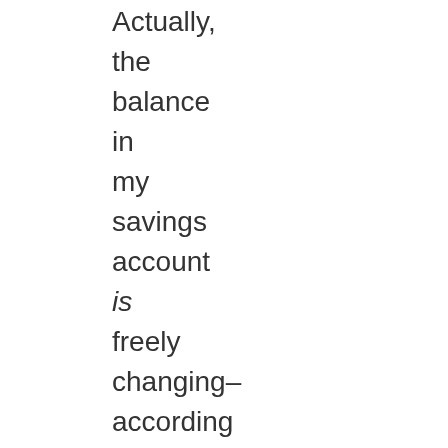Actually, the balance in my savings account is freely changing–according to the freely made choices of my wife. Oh, how I hope she is not at